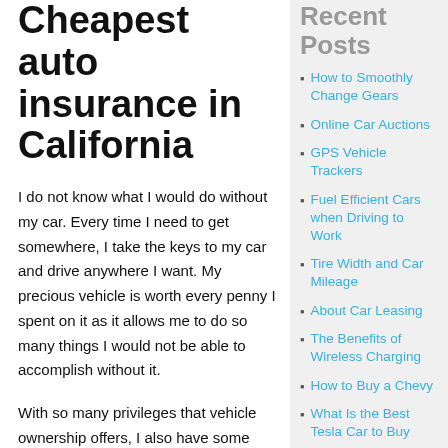Cheapest auto insurance in California
I do not know what I would do without my car. Every time I need to get somewhere, I take the keys to my car and drive anywhere I want. My precious vehicle is worth every penny I spent on it as it allows me to do so many things I would not be able to accomplish without it.
With so many privileges that vehicle ownership offers, I also have some responsibilities. One of those responsibilities is purchasing car insurance for my car. I usually do it by checking car insurance quotes first to make sure that I only buy the cheapest car insurance possible. Such insurance can be easily...
Recent Posts
How to Smoothly Change Gears
Online Car Auctions
GPS Vehicle Trackers
Fuel Efficient Cars when Driving to Work
Tire Width and Car Mileage
About Car Leasing
The Benefits of Wireless Charging
How to Buy a Chevy
What Is the Best Tesla Car to Buy